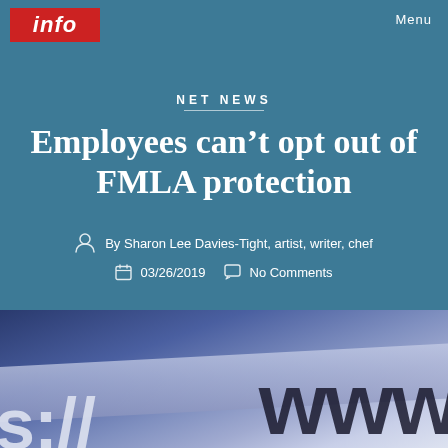[Figure (logo): Red logo box with white italic text 'info']
Menu
NET NEWS
Employees can't opt out of FMLA protection
By Sharon Lee Davies-Tight, artist, writer, chef
03/26/2019  No Comments
[Figure (photo): Close-up photo of a keyboard or surface with URL text showing '://www' in large dark letters on a blueish background]